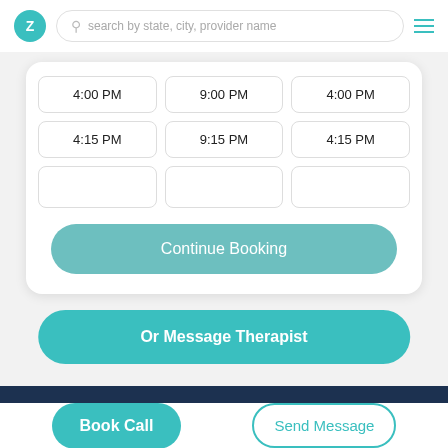[Figure (screenshot): App header with teal Z logo, search bar reading 'search by state, city, provider name', and hamburger menu icon]
| 4:00 PM | 9:00 PM | 4:00 PM |
| 4:15 PM | 9:15 PM | 4:15 PM |
| ... | ... | ... |
Continue Booking
Or Message Therapist
Book Call
Send Message